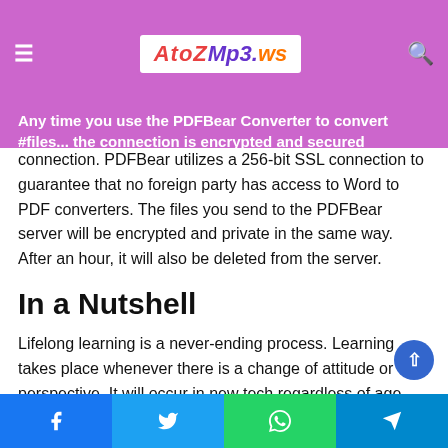AtozMp3.ws navigation bar
Any time you use the PDFBear Converter to convert files, the connection is encrypted and secured connection. PDFBear utilizes a 256-bit SSL connection to guarantee that no foreign party has access to Word to PDF converters. The files you send to the PDFBear server will be encrypted and private in the same way. After an hour, it will also be deleted from the server.
In a Nutshell
Lifelong learning is a never-ending process. Learning takes place whenever there is a change of attitude or perspective. It will occur in new tech regardless of age group, as long as there is an eagerness to listen. PDFBear is not only great for editing, converting, and working with PDFs, but it also has a high level of quality that helps make clients enjoy and attach
Facebook | Twitter | WhatsApp | Telegram share buttons